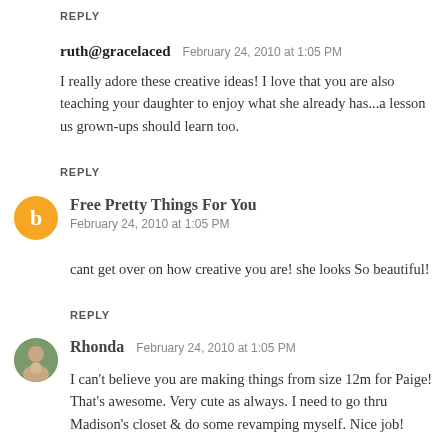REPLY
ruth@gracelaced  February 24, 2010 at 1:05 PM
I really adore these creative ideas! I love that you are also teaching your daughter to enjoy what she already has...a lesson us grown-ups should learn too.
REPLY
Free Pretty Things For You  February 24, 2010 at 1:05 PM
cant get over on how creative you are! she looks So beautiful!
REPLY
Rhonda  February 24, 2010 at 1:05 PM
I can't believe you are making things from size 12m for Paige! That's awesome. Very cute as always. I need to go thru Madison's closet & do some revamping myself. Nice job!